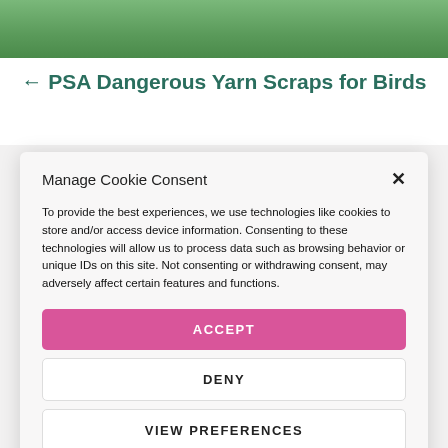[Figure (photo): Green outdoor background image at top of page]
← PSA Dangerous Yarn Scraps for Birds
Manage Cookie Consent
To provide the best experiences, we use technologies like cookies to store and/or access device information. Consenting to these technologies will allow us to process data such as browsing behavior or unique IDs on this site. Not consenting or withdrawing consent, may adversely affect certain features and functions.
ACCEPT
DENY
VIEW PREFERENCES
Cookie Policy · Privacy Policy